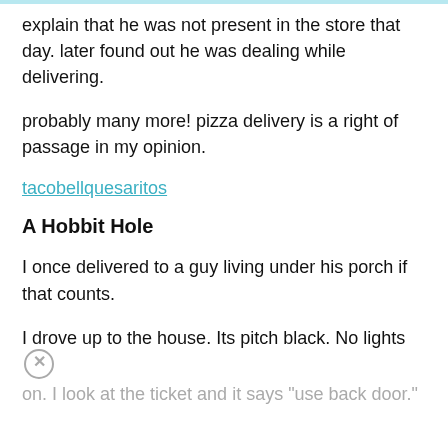explain that he was not present in the store that day. later found out he was dealing while delivering.
probably many more! pizza delivery is a right of passage in my opinion.
tacobellquesaritos
A Hobbit Hole
I once delivered to a guy living under his porch if that counts.
I drove up to the house. Its pitch black. No lights on. I look at the ticket and it says "use back door."